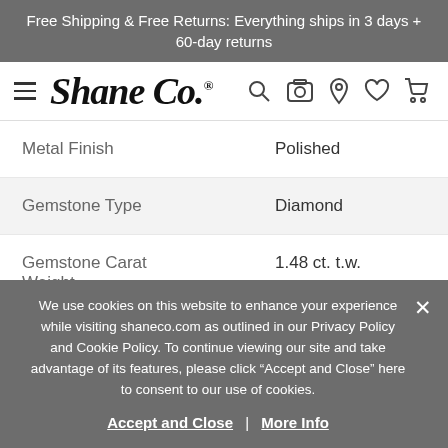Free Shipping & Free Returns: Everything ships in 3 days + 60-day returns
[Figure (logo): Shane Co. logo with hamburger menu and navigation icons (search, camera, location, wishlist, cart)]
| Attribute | Value |
| --- | --- |
| Metal Finish | Polished |
| Gemstone Type | Diamond |
| Gemstone Carat Weight | 1.48 ct. t.w. |
We use cookies on this website to enhance your experience while visiting shaneco.com as outlined in our Privacy Policy and Cookie Policy. To continue viewing our site and take advantage of its features, please click "Accept and Close" here to consent to our use of cookies. Accept and Close | More Info